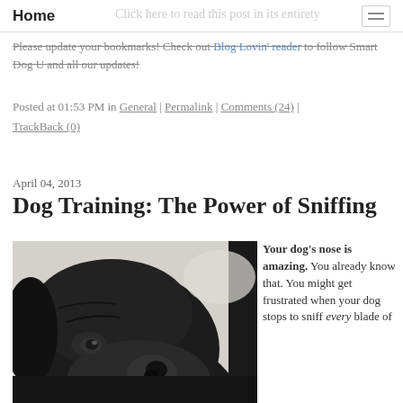Home
Click here to read this post in its entirety
Please update your bookmarks! Check out Blog Lovin' reader to follow Smart Dog U and all our updates!
Posted at 01:53 PM in General | Permalink | Comments (24) | TrackBack (0)
April 04, 2013
Dog Training: The Power of Sniffing
[Figure (photo): Close-up photo of a black dog's face with its nose prominently visible, shot from slightly below against a light grey background.]
Your dog's nose is amazing. You already know that. You might get frustrated when your dog stops to sniff every blade of